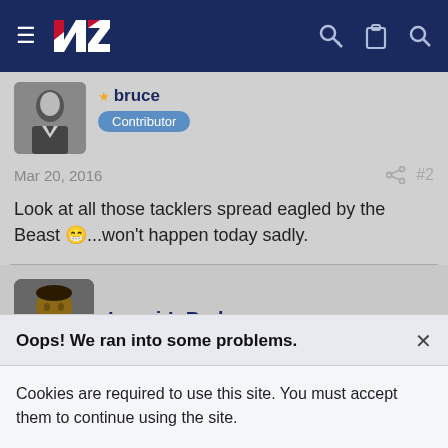[Figure (screenshot): Navigation bar with hamburger menu, NZ logo, key icon, clipboard icon, and search icon on dark navy background]
[Figure (photo): Small grayscale avatar photo of a person in formal attire]
bruce
Contributor
Mar 20, 2016
#2
Look at all those tacklers spread eagled by the Beast 😁...won't happen today sadly.
[Figure (photo): Avatar photo of Lousi-InBed, a rugby player in red and green jersey]
Lousi-InBed
Oops! We ran into some problems.
Cookies are required to use this site. You must accept them to continue using the site.